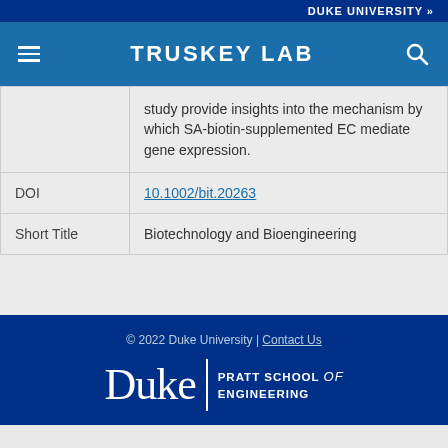DUKE UNIVERSITY »
TRUSKEY LAB
|  | study provide insights into the mechanism by which SA-biotin-supplemented EC mediate gene expression. |
| DOI | 10.1002/bit.20263 |
| Short Title | Biotechnology and Bioengineering |
© 2022 Duke University | Contact Us
Duke | PRATT SCHOOL of ENGINEERING